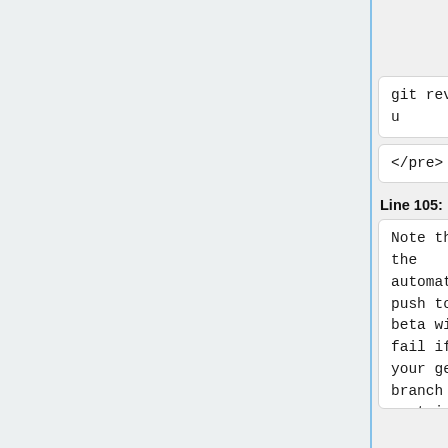v0.13.0-a4"
git review -
u
git review -
u
</pre>
</pre>
Line 105:
Line 190:
Note that the automated push to beta will fail if your gerrit branch name contains a slash. This is probably just because
Note that the automated push to beta will fail if your gerrit branch name contains a slash. This is probably just because